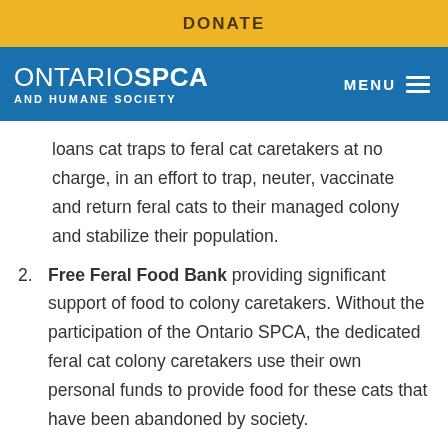DONATE
ONTARIOSPCA AND HUMANE SOCIETY  MENU
loans cat traps to feral cat caretakers at no charge, in an effort to trap, neuter, vaccinate and return feral cats to their managed colony and stabilize their population.
2. Free Feral Food Bank providing significant support of food to colony caretakers. Without the participation of the Ontario SPCA, the dedicated feral cat colony caretakers use their own personal funds to provide food for these cats that have been abandoned by society.